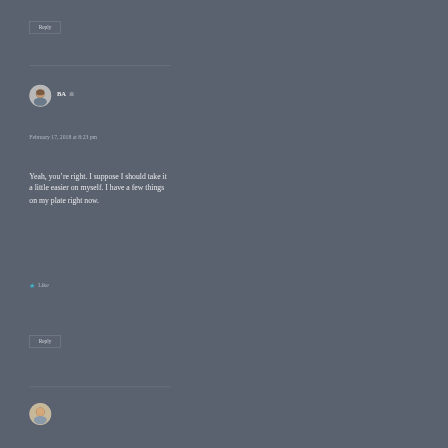Reply
[Figure (photo): Round avatar photo of a man with brown hair]
BA (user icon)
February 17, 2018 at 8:23 pm
Yeah, you’re right. I suppose I should take it a little easier on myself. I have a few things on my plate right now.
★ Like
Reply